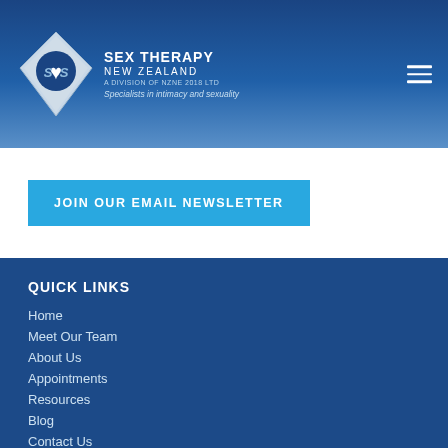[Figure (logo): Sex Therapy New Zealand logo with diamond shape containing interlocked S shapes and a heart, with tagline 'Specialists in intimacy and sexuality']
JOIN OUR EMAIL NEWSLETTER
QUICK LINKS
Home
Meet Our Team
About Us
Appointments
Resources
Blog
Contact Us